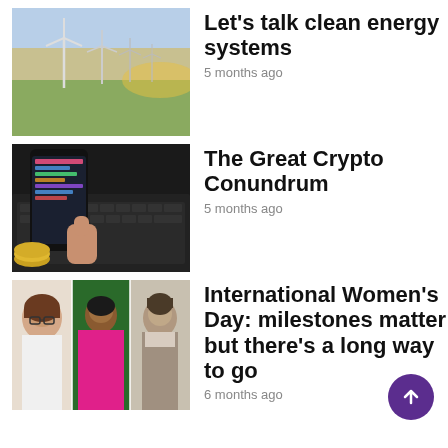[Figure (photo): Wind turbines in a field at sunset]
Let's talk clean energy systems
5 months ago
[Figure (photo): Hand holding a smartphone with crypto app near laptop keyboard and coins]
The Great Crypto Conundrum
5 months ago
[Figure (photo): Composite of three women: a politician in white jacket, a woman in pink top outdoors, and a historical black-and-white portrait]
International Women's Day: milestones matter but there's a long way to go
6 months ago